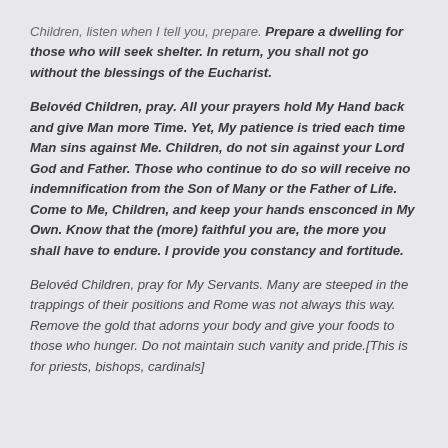Children, listen when I tell you, prepare. Prepare a dwelling for those who will seek shelter. In return, you shall not go without the blessings of the Eucharist.
Belovéd Children, pray. All your prayers hold My Hand back and give Man more Time. Yet, My patience is tried each time Man sins against Me. Children, do not sin against your Lord God and Father. Those who continue to do so will receive no indemnification from the Son of Many or the Father of Life. Come to Me, Children, and keep your hands ensconced in My Own. Know that the (more) faithful you are, the more you shall have to endure. I provide you constancy and fortitude.
Belovéd Children, pray for My Servants. Many are steeped in the trappings of their positions and Rome was not always this way. Remove the gold that adorns your body and give your foods to those who hunger. Do not maintain such vanity and pride.[This is for priests, bishops, cardinals]